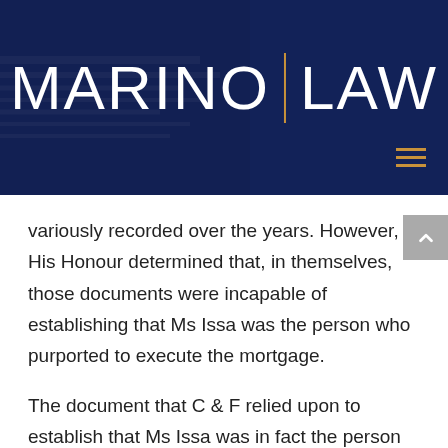[Figure (logo): Marino Law firm logo on dark navy blue banner background with amber/gold vertical divider line between MARINO and LAW text, and a hamburger menu icon in the bottom right]
variously recorded over the years. However, His Honour determined that, in themselves, those documents were incapable of establishing that Ms Issa was the person who purported to execute the mortgage.
The document that C & F relied upon to establish that Ms Issa was in fact the person who purported to execute the mortgage was